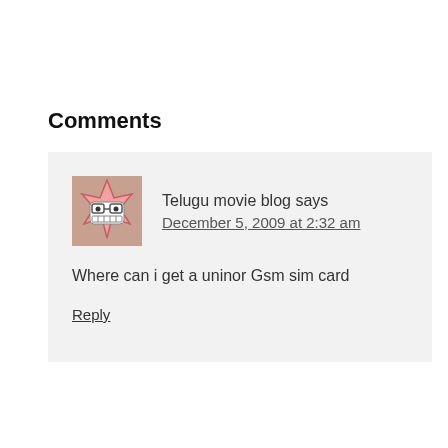Comments
Telugu movie blog says
December 5, 2009 at 2:32 am
Where can i get a uninor Gsm sim card
Reply
Pavan Somu says
December 5, 2009 at 5:11